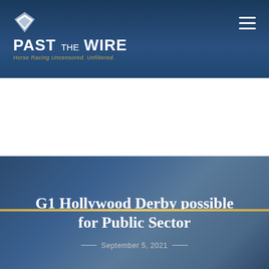Past The Wire — Horse Racing Uncensored. Unfiltered.
G1 Hollywood Derby possible for Public Sector
September 5, 2021
[Figure (illustration): Advertisement banner: Circle 6 Ranch logo on left, Tropical Racing logo on right, center text reads 'The Future Is NOW. THOROUGHBRED PARTNERSHIPS AT A FRACTION OF THE COST' on black background]
[Figure (infographic): Social share buttons: Facebook (blue), Twitter (light blue), Pinterest (red), Email (gray), Share (green). Chat widget with orange bubble icon and blue notification badge showing 0.]